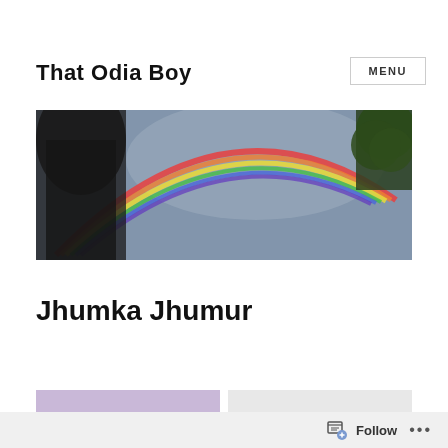That Odia Boy
MENU
[Figure (photo): A wide panoramic photo showing a rainbow arcing across a grey sky, with dark silhouetted trees on the left and a tree with green leaves on the upper right.]
Jhumka Jhumur
Follow ...